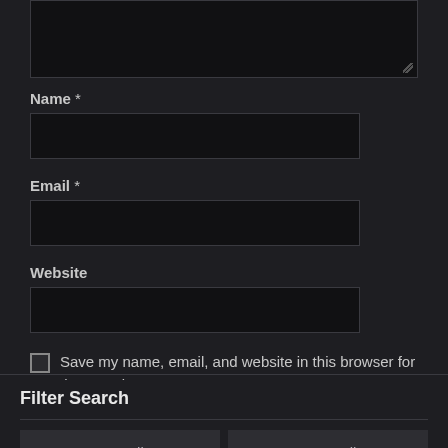[Figure (screenshot): Top portion of a dark-themed web form textarea (partially visible, cut off at top)]
Name *
[Figure (screenshot): Dark input field for Name]
Email *
[Figure (screenshot): Dark input field for Email]
Website
[Figure (screenshot): Dark input field for Website]
Save my name, email, and website in this browser for the next time I comment.
Post Comment
Filter Search
Genre All
Season All